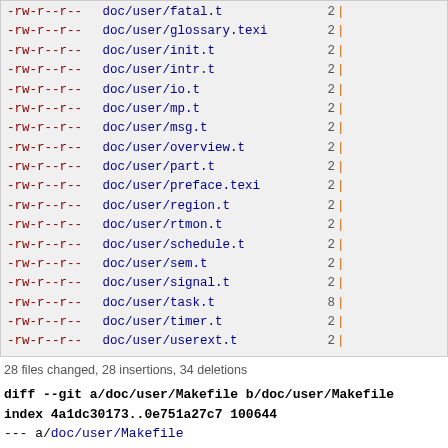| permissions | filename | count | bar |
| --- | --- | --- | --- |
| -rw-r--r-- | doc/user/fatal.t | 2 | | |
| -rw-r--r-- | doc/user/glossary.texi | 2 | | |
| -rw-r--r-- | doc/user/init.t | 2 | | |
| -rw-r--r-- | doc/user/intr.t | 2 | | |
| -rw-r--r-- | doc/user/io.t | 2 | | |
| -rw-r--r-- | doc/user/mp.t | 2 | | |
| -rw-r--r-- | doc/user/msg.t | 2 | | |
| -rw-r--r-- | doc/user/overview.t | 2 | | |
| -rw-r--r-- | doc/user/part.t | 2 | | |
| -rw-r--r-- | doc/user/preface.texi | 2 | | |
| -rw-r--r-- | doc/user/region.t | 2 | | |
| -rw-r--r-- | doc/user/rtmon.t | 2 | | |
| -rw-r--r-- | doc/user/schedule.t | 2 | | |
| -rw-r--r-- | doc/user/sem.t | 2 | | |
| -rw-r--r-- | doc/user/signal.t | 2 | | |
| -rw-r--r-- | doc/user/task.t | 8 | | |
| -rw-r--r-- | doc/user/timer.t | 2 | | |
| -rw-r--r-- | doc/user/userext.t | 2 | | |
28 files changed, 28 insertions, 34 deletions
diff --git a/doc/user/Makefile b/doc/user/Makefile
index 4a1dc30173..0e751a27c7 100644
--- a/doc/user/Makefile
+++ b/doc/user/Makefile
@@ -1,5 +1,5 @@